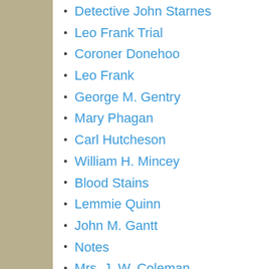Detective John Starnes
Leo Frank Trial
Coroner Donehoo
Leo Frank
George M. Gentry
Mary Phagan
Carl Hutcheson
William H. Mincey
Blood Stains
Lemmie Quinn
John M. Gantt
Notes
Mrs. J. W. Coleman
Mayor J. G. Woodward
Factory Women
Sheriff Mangum
Luther Rosser
Atlanta Georgian
Newt Lee
Audio Book
C. B. Dalton
Coroner's inquest